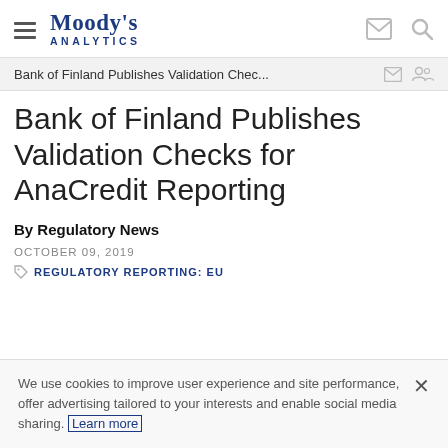Moody's Analytics
Bank of Finland Publishes Validation Chec...
Bank of Finland Publishes Validation Checks for AnaCredit Reporting
By Regulatory News
OCTOBER 09, 2019
REGULATORY REPORTING: EU
We use cookies to improve user experience and site performance, offer advertising tailored to your interests and enable social media sharing. Learn more